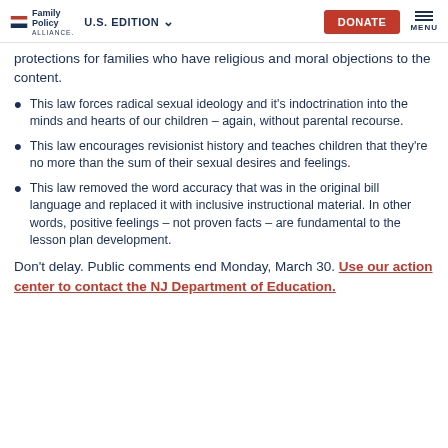Family Policy Alliance | U.S. EDITION | DONATE | MENU
protections for families who have religious and moral objections to the content.
This law forces radical sexual ideology and it’s indoctrination into the minds and hearts of our children – again, without parental recourse.
This law encourages revisionist history and teaches children that they’re no more than the sum of their sexual desires and feelings.
This law removed the word accuracy that was in the original bill language and replaced it with inclusive instructional material. In other words, positive feelings – not proven facts – are fundamental to the lesson plan development.
Don’t delay. Public comments end Monday, March 30. Use our action center to contact the NJ Department of Education.